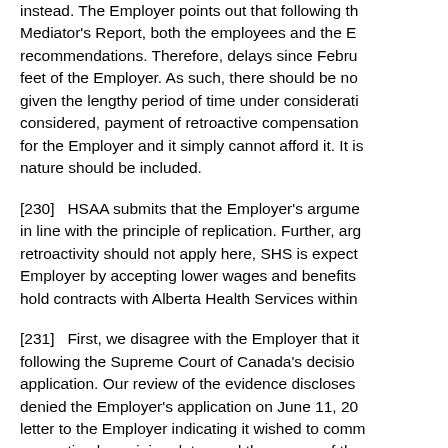instead. The Employer points out that following the Mediator's Report, both the employees and the E recommendations. Therefore, delays since Febru feet of the Employer. As such, there should be no given the lengthy period of time under considerati considered, payment of retroactive compensation for the Employer and it simply cannot afford it. It i nature should be included.
[230]  HSAA submits that the Employer's argume in line with the principle of replication. Further, arg retroactivity should not apply here, SHS is expect Employer by accepting lower wages and benefits hold contracts with Alberta Health Services within
[231]  First, we disagree with the Employer that it following the Supreme Court of Canada's decisio application. Our review of the evidence discloses denied the Employer's application on June 11, 20 letter to the Employer indicating it wished to comm requesting bargaining dates and the names of the The Employer did not respond to this letter. On Ju communicated with the Employer seeking the san